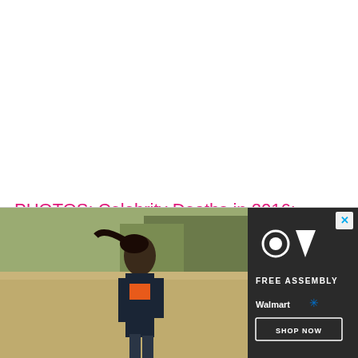PHOTOS: Celebrity Deaths in 2016: Stars We've Lost »
[Figure (photo): Advertisement banner for Free Assembly brand at Walmart. Shows a woman walking through a field wearing a navy jacket and orange shirt. The Free Assembly logo (circle and triangle shapes) is displayed along with the text FREE ASSEMBLY, Walmart logo, and a SHOP NOW button.]